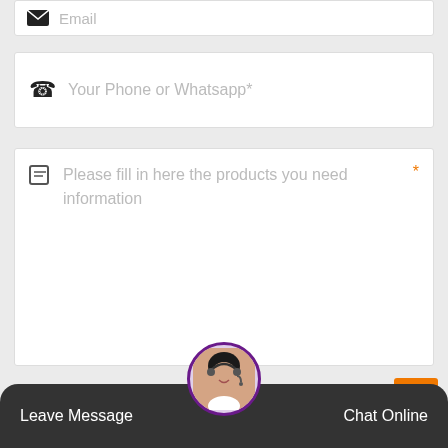[Figure (screenshot): Email input field (partially visible at top)]
Email
[Figure (screenshot): Phone input field with phone icon]
Your Phone or Whatsapp*
[Figure (screenshot): Textarea input field with edit icon and required asterisk]
Please fill in here the products you need information
Send Now!
Leave Message
Chat Online